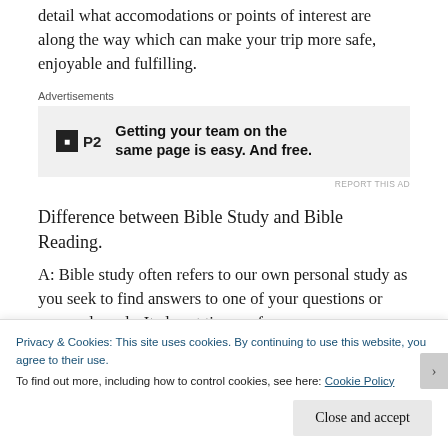detail what accomodations or points of interest are along the way which can make your trip more safe, enjoyable and fulfilling.
[Figure (other): Advertisement banner for P2 with text: Getting your team on the same page is easy. And free.]
Difference between Bible Study and Bible Reading.
A: Bible study often refers to our own personal study as you seek to find answers to one of your questions or personal needs. It also at times refers
Privacy & Cookies: This site uses cookies. By continuing to use this website, you agree to their use.
To find out more, including how to control cookies, see here: Cookie Policy
Close and accept